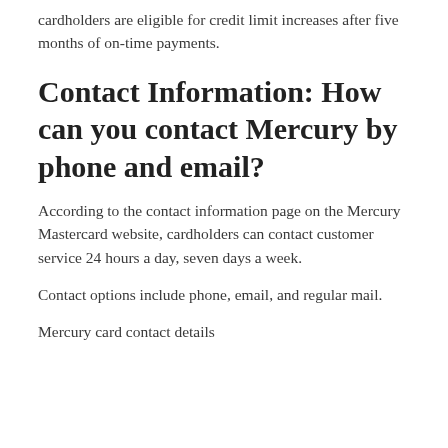cardholders are eligible for credit limit increases after five months of on-time payments.
Contact Information: How can you contact Mercury by phone and email?
According to the contact information page on the Mercury Mastercard website, cardholders can contact customer service 24 hours a day, seven days a week.
Contact options include phone, email, and regular mail.
Mercury card contact details